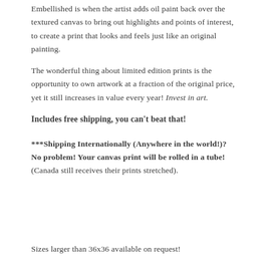Embellished is when the artist adds oil paint back over the textured canvas to bring out highlights and points of interest, to create a print that looks and feels just like an original painting.
The wonderful thing about limited edition prints is the opportunity to own artwork at a fraction of the original price, yet it still increases in value every year! Invest in art.
Includes free shipping, you can't beat that!
***Shipping Internationally (Anywhere in the world!)? No problem! Your canvas print will be rolled in a tube! (Canada still receives their prints stretched).
Sizes larger than 36x36 available on request!